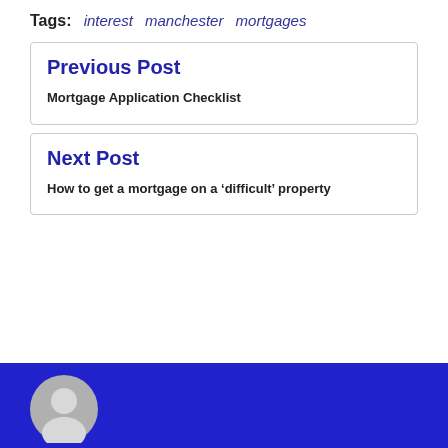Tags: interest   manchester   mortgages
Previous Post
Mortgage Application Checklist
Next Post
How to get a mortgage on a ‘difficult’ property
[Figure (illustration): Blue footer bar with gray avatar/user silhouette icon]